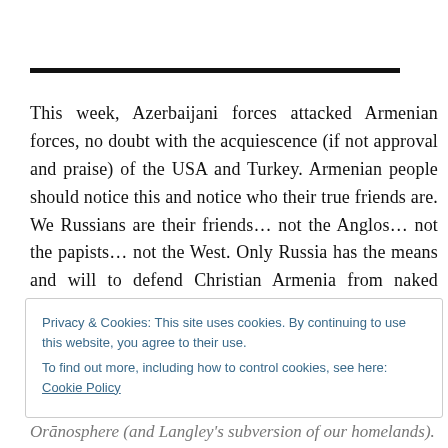This week, Azerbaijani forces attacked Armenian forces, no doubt with the acquiescence (if not approval and praise) of the USA and Turkey. Armenian people should notice this and notice who their true friends are. We Russians are their friends… not the Anglos… not the papists… not the West. Only Russia has the means and will to defend Christian Armenia from naked American
Privacy & Cookies: This site uses cookies. By continuing to use this website, you agree to their use.
To find out more, including how to control cookies, see here: Cookie Policy
Orānosphere (and Langley's subversion of our homelands).